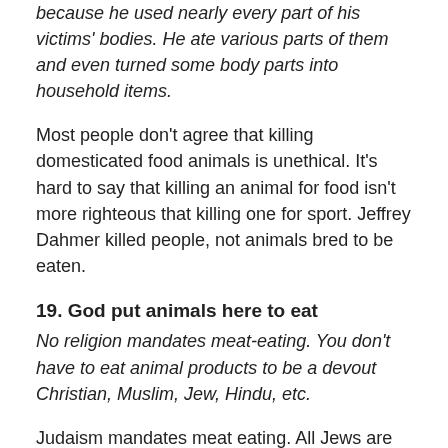because he used nearly every part of his victims' bodies. He ate various parts of them and even turned some body parts into household items.
Most people don't agree that killing domesticated food animals is unethical. It's hard to say that killing an animal for food isn't more righteous that killing one for sport. Jeffrey Dahmer killed people, not animals bred to be eaten.
19. God put animals here to eat
No religion mandates meat-eating. You don't have to eat animal products to be a devout Christian, Muslim, Jew, Hindu, etc.
Judaism mandates meat eating. All Jews are commanded to eat the flesh of the Paschal [lamb] sacrifice on the night of the fifteenth of Nissan (Ex. 12:8).